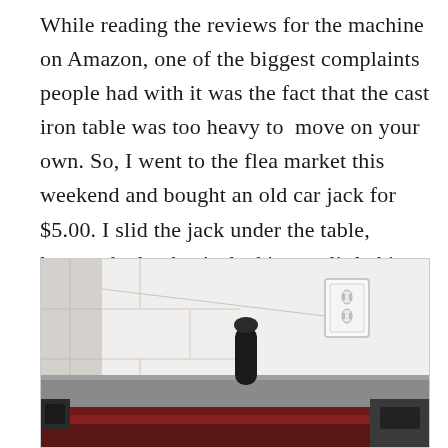While reading the reviews for the machine on Amazon, one of the biggest complaints people had with it was the fact that the cast iron table was too heavy to move on your own. So, I went to the flea market this weekend and bought an old car jack for $5.00. I slid the jack under the table, loosen the knobs, jacked it up a little bit, then tighten back the knobs. Works great! Plus the jack is small enough to fit inside the cabinet.
[Figure (photo): Photo of a woodworking machine (likely a jointer or planer) with a red/brown table surface and a black handle visible. White cinder block wall in the background with an electrical outlet mounted on it.]